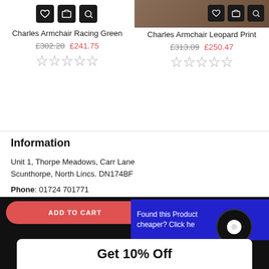Charles Armchair Racing Green
£302.20  £241.75
Charles Armchair Leopard Print
£313.09  £250.47
Information
Unit 1, Thorpe Meadows, Carr Lane
Scunthorpe, North Lincs. DN174BF
Phone: 01724 701771
Email: sales@cozee-living.co.uk
ADD TO CART
Found this Product cheaper? Click he
Get 10% Off